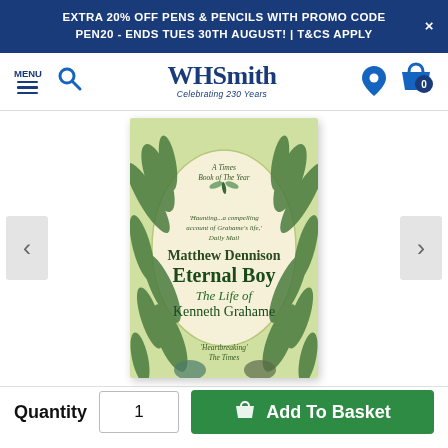EXTRA 20% OFF PENS & PENCILS WITH PROMO CODE PEN20 - ENDS TUES 30TH AUGUST! | T&CS APPLY
[Figure (screenshot): WHSmith website navigation bar with menu icon, search icon, WHSmith logo (Celebrating 230 Years), location pin icon, and basket icon showing 0 items]
[Figure (photo): Book cover of 'Eternal Boy: The Life of Kenneth Grahame' by Matthew Dennison. Green and cream illustrated cover with tropical foliage, a dragonfly, and illustrations of animals. Quotes: 'A Times Book of The Year', 'Haunting... a compelling account of Grahame's life' Daily Mail, 'Heartbreaking' The Times.]
Quantity  1  Add To Basket